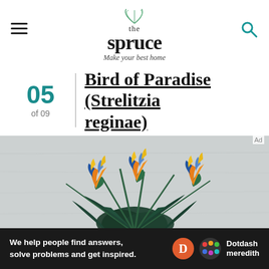the spruce — Make your best home
05 of 09 Bird of Paradise (Strelitzia reginae)
[Figure (photo): Bird of Paradise (Strelitzia reginae) plant with three orange and blue flowers against a white textured wall background]
We help people find answers, solve problems and get inspired. Dotdash meredith